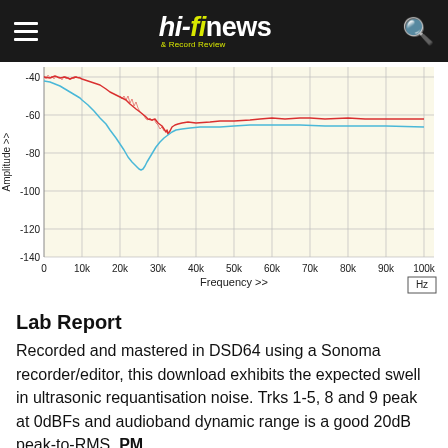hi-fi news & Record Review
[Figure (continuous-plot): Frequency spectrum plot showing noise/amplitude vs frequency from 0 to 100kHz. Y-axis labeled 'Amplitude >>' ranging from -40 to -140 dB. X-axis labeled 'Frequency >> Hz'. Two lines: red line starts around -40dB at low frequencies, dips to about -68dB around 30k, then rises to plateau around -57dB from 50k-100k. Cyan/blue line starts around -42dB, dips sharply to about -85dB at ~27k, then rises to plateau around -65dB from 50k-100k.]
Lab Report
Recorded and mastered in DSD64 using a Sonoma recorder/editor, this download exhibits the expected swell in ultrasonic requantisation noise. Trks 1-5, 8 and 9 peak at 0dBFs and audioband dynamic range is a good 20dB peak-to-RMS. PM